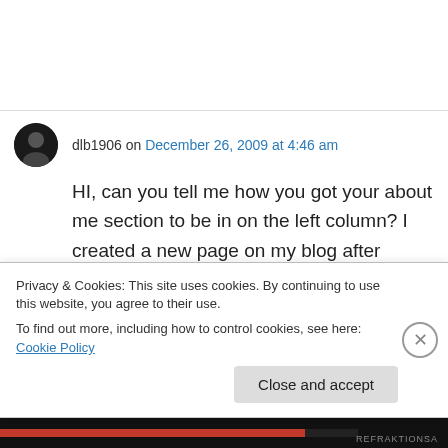dlb1906 on December 26, 2009 at 4:46 am
HI, can you tell me how you got your about me section to be in on the left column? I created a new page on my blog after seeing that it was possible from your site. I tried dumping the text into an unused widget but the text came out all
Privacy & Cookies: This site uses cookies. By continuing to use this website, you agree to their use.
To find out more, including how to control cookies, see here: Cookie Policy
Close and accept